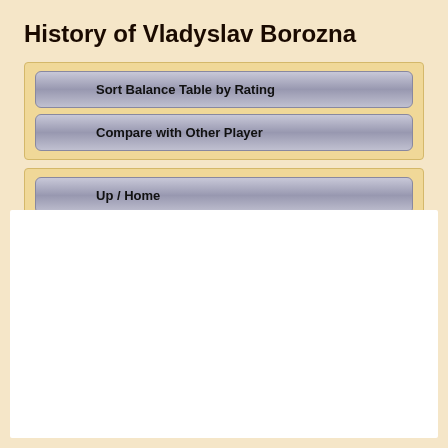History of Vladyslav Borozna
Sort Balance Table by Rating
Compare with Other Player
Up / Home